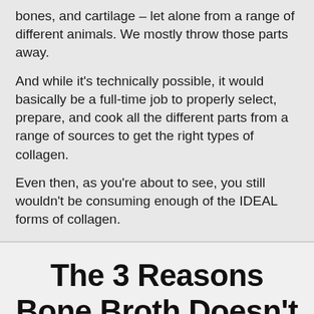bones, and cartilage – let alone from a range of different animals. We mostly throw those parts away.
And while it's technically possible, it would basically be a full-time job to properly select, prepare, and cook all the different parts from a range of sources to get the right types of collagen.
Even then, as you're about to see, you still wouldn't be consuming enough of the IDEAL forms of collagen.
The 3 Reasons Bone Broth Doesn't